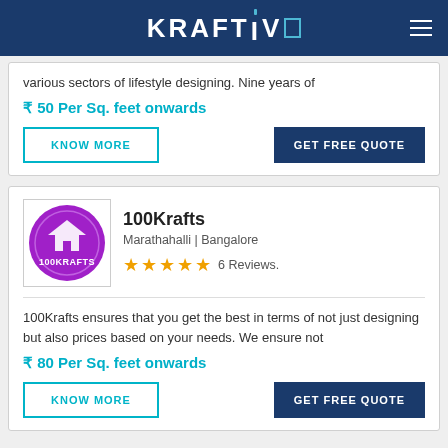KRAFTIVO
various sectors of lifestyle designing. Nine years of
₹ 50 Per Sq. feet onwards
KNOW MORE
GET FREE QUOTE
[Figure (logo): 100Krafts logo - purple circle with house icon and IOOKRAFTS text]
100Krafts
Marathahalli | Bangalore
6 Reviews.
100Krafts ensures that you get the best in terms of not just designing but also prices based on your needs. We ensure not
₹ 80 Per Sq. feet onwards
KNOW MORE
GET FREE QUOTE